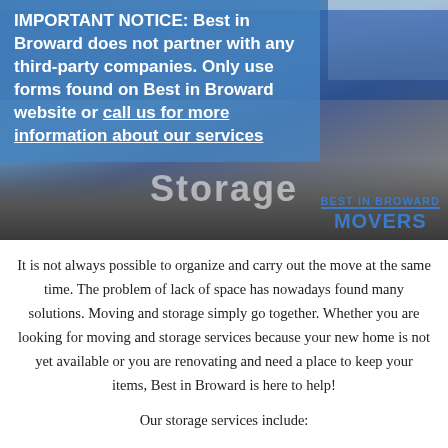[Figure (photo): Outdoor photo of a group of movers standing in front of a moving truck with 'Storage' text visible, with 'Best in Broward Movers' logo in the bottom right corner. A semi-transparent blue notice overlay covers the upper-left portion of the image.]
IMPORTANT NOTICE: Best in Broward does not partner with any third-party companies. Only use forms found on Best in Broward website or call us for more information about our services
It is not always possible to organize and carry out the move at the same time. The problem of lack of space has nowadays found many solutions. Moving and storage simply go together. Whether you are looking for moving and storage services because your new home is not yet available or you are renovating and need a place to keep your items, Best in Broward is here to help!
Our storage services include: